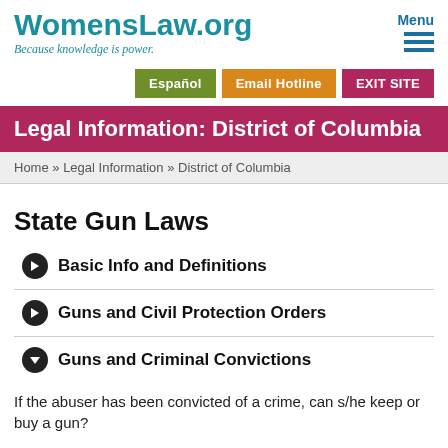WomensLaw.org — Because knowledge is power.
Español | Email Hotline | EXIT SITE
Legal Information: District of Columbia
Home » Legal Information » District of Columbia
State Gun Laws
Basic Info and Definitions
Guns and Civil Protection Orders
Guns and Criminal Convictions
If the abuser has been convicted of a crime, can s/he keep or buy a gun?